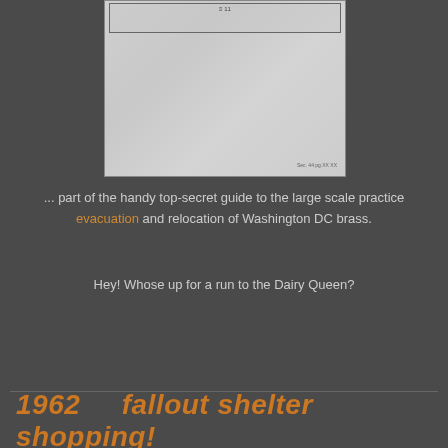[Figure (photo): Scanned government document page with a table/form visible at the top and a classification stamp reading 'Sec. 44 pg.XX XX' at the bottom right. The document appears to be on aged paper with a mottled gray appearance.]
... part of the handy top-secret guide to the large scale practice evacuation and relocation of Washington DC brass.
Hey! Whose up for a run to the Dairy Queen?
1962 ... fallout shelter shopping!